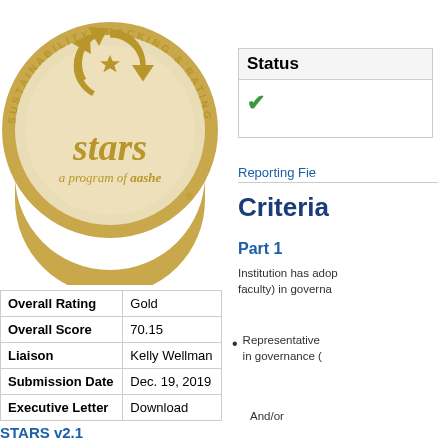[Figure (logo): STARS Gold medal logo — circular gold medal with text 'SUSTAINABILITY TRACKING & RATING SYSTEM', 'stars', 'a program of aashe', and 'GOLD' at the bottom with a registered trademark symbol]
| Overall Rating | Gold |
| Overall Score | 70.15 |
| Liaison | Kelly Wellman |
| Submission Date | Dec. 19, 2019 |
| Executive Letter | Download |
STARS v2.1
Status
✓
Reporting Fie
Criteria
Part 1
Institution has adop faculty) in governa
Representative in governance (
And/or